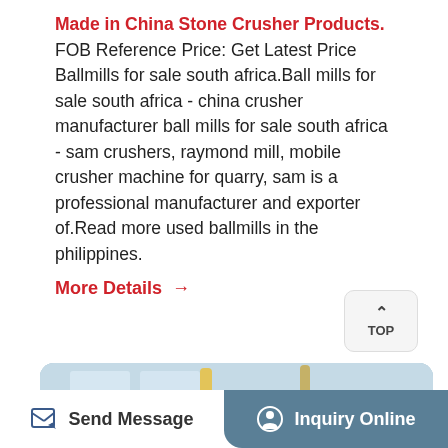Made in China Stone Crusher Products. FOB Reference Price: Get Latest Price Ballmills for sale south africa.Ball mills for sale south africa - china crusher manufacturer ball mills for sale south africa - sam crushers, raymond mill, mobile crusher machine for quarry, sam is a professional manufacturer and exporter of.Read more used ballmills in the philippines.
More Details →
[Figure (photo): Close-up photo of large industrial stone crusher machinery with metal flanges, bolts, and a red stripe on the crusher cone, inside a factory/warehouse setting.]
Send Message
Inquiry Online